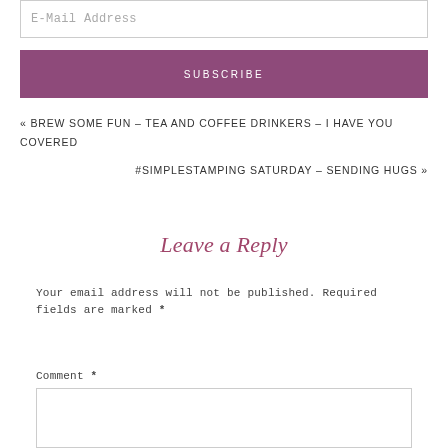E-Mail Address
SUBSCRIBE
« BREW SOME FUN – TEA AND COFFEE DRINKERS – I HAVE YOU COVERED
#SIMPLESTAMPING SATURDAY – SENDING HUGS »
Leave a Reply
Your email address will not be published. Required fields are marked *
Comment *